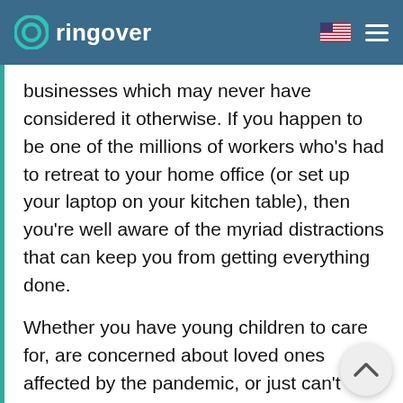ringover
businesses which may never have considered it otherwise. If you happen to be one of the millions of workers who's had to retreat to your home office (or set up your laptop on your kitchen table), then you're well aware of the myriad distractions that can keep you from getting everything done.
Whether you have young children to care for, are concerned about loved ones affected by the pandemic, or just can't resist checking those social media feed every few minutes, the following tips will help